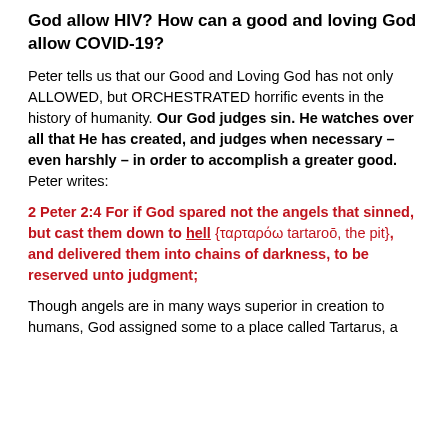God allow HIV? How can a good and loving God allow COVID-19?
Peter tells us that our Good and Loving God has not only ALLOWED, but ORCHESTRATED horrific events in the history of humanity. Our God judges sin. He watches over all that He has created, and judges when necessary – even harshly – in order to accomplish a greater good. Peter writes:
2 Peter 2:4 For if God spared not the angels that sinned, but cast them down to hell {ταρταρόω tartaroō, the pit}, and delivered them into chains of darkness, to be reserved unto judgment;
Though angels are in many ways superior in creation to humans, God assigned some to a place called Tartarus, a